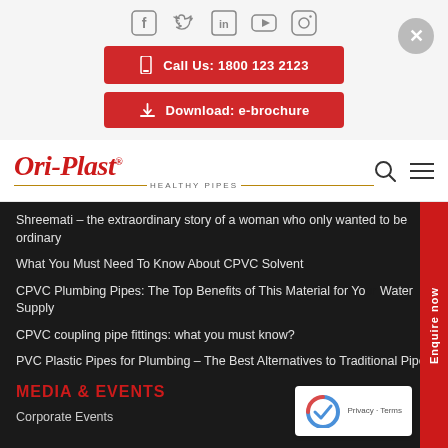[Figure (screenshot): Social media icons row: Facebook, Twitter, LinkedIn, YouTube, Instagram]
Call Us: 1800 123 2123
Download: e-brochure
[Figure (logo): Ori-Plast HEALTHY PIPES logo in red cursive with tagline]
Shreemati – the extraordinary story of a woman who only wanted to be ordinary
What You Must Need To Know About CPVC Solvent
CPVC Plumbing Pipes: The Top Benefits of This Material for Your Water Supply
CPVC coupling pipe fittings: what you must know?
PVC Plastic Pipes for Plumbing – The Best Alternatives to Traditional Pipes
MEDIA & EVENTS
Corporate Events